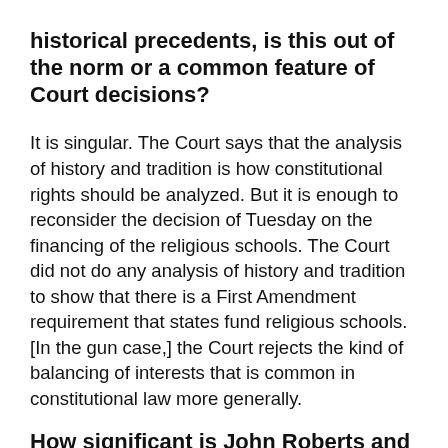historical precedents, is this out of the norm or a common feature of Court decisions?
It is singular. The Court says that the analysis of history and tradition is how constitutional rights should be analyzed. But it is enough to reconsider the decision of Tuesday on the financing of the religious schools. The Court did not do any analysis of history and tradition to show that there is a First Amendment requirement that states fund religious schools. [In the gun case,] the Court rejects the kind of balancing of interests that is common in constitutional law more generally.
How significant is John Roberts and